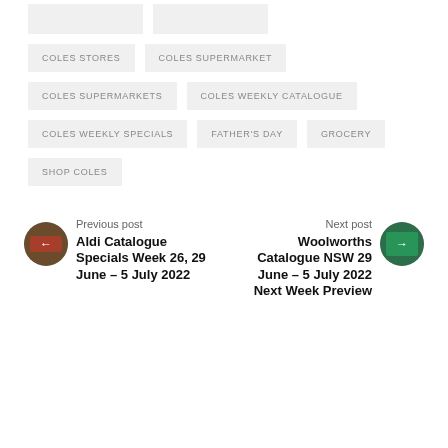COLES STORES
COLES SUPERMARKET
COLES SUPERMARKETS
COLES WEEKLY CATALOGUE
COLES WEEKLY SPECIALS
FATHER'S DAY
GROCERY
SHOP COLES
Previous post
Aldi Catalogue Specials Week 26, 29 June – 5 July 2022
Next post
Woolworths Catalogue NSW 29 June – 5 July 2022 Next Week Preview